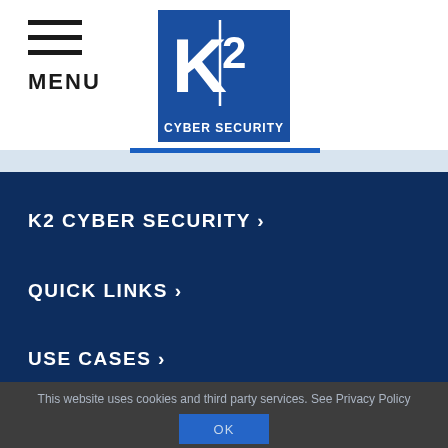[Figure (logo): K2 Cyber Security logo — blue square with white K2 text and 'CYBER SECURITY' below]
MENU
K2 CYBER SECURITY ›
QUICK LINKS ›
USE CASES ›
This website uses cookies and third party services. See Privacy Policy
OK